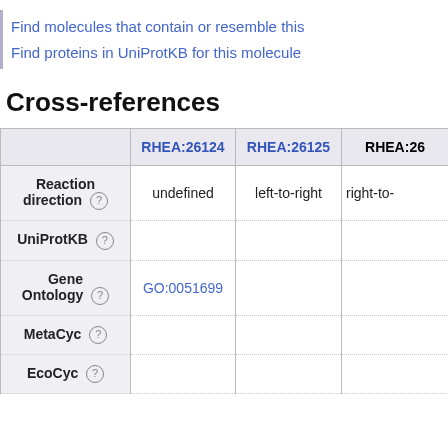Find molecules that contain or resemble this
Find proteins in UniProtKB for this molecule
Cross-references
|  | RHEA:26124 | RHEA:26125 | RHEA:26… |
| --- | --- | --- | --- |
| Reaction direction (?) | undefined | left-to-right | right-to- |
| UniProtKB (?) |  |  |  |
| Gene Ontology (?) | GO:0051699 |  |  |
| MetaCyc (?) |  |  |  |
| EcoCyc (?) |  |  |  |